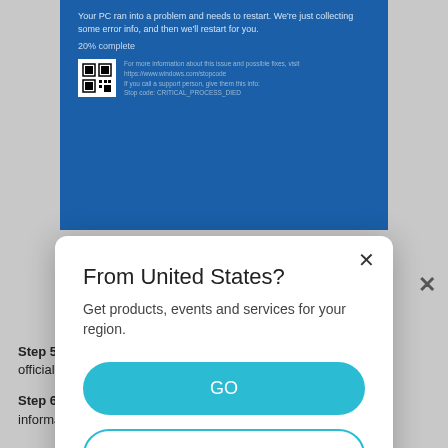[Figure (screenshot): Windows Blue Screen of Death (BSOD) error screen with text 'Your PC ran into a problem and needs to restart. We're just collecting some error info, and then we'll restart for you.' with '20% complete' and a QR code.]
[Figure (screenshot): Web page modal dialog overlay on a grey background with 'From United States?' dialog asking to get products, events and services for the region, with GO and Other Option buttons.]
From United States?
Get products, events and services for your region.
GO
Other Option
Step 5: Plug our adapter back into the computer, then, install our official driver for this adapter.
Step 6:If the issue is still the same, please collect the following information and contact TP-Link support